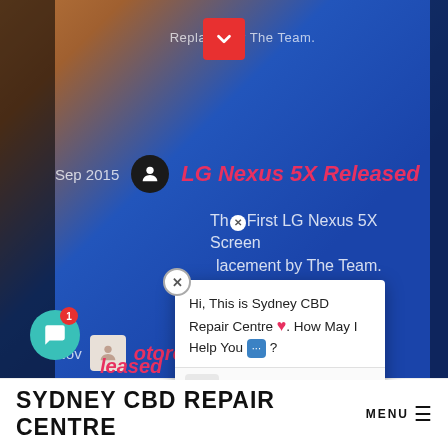[Figure (screenshot): Screenshot of Sydney CBD Repair Centre website showing a timeline with LG Nexus 5X Released (Sep 2015) and Motorola Nexus 6 Released entries, plus a live chat popup from Customer Support Team saying 'Hi, This is Sydney CBD Repair Centre. How May I Help You?', with a teal chat bubble icon with notification badge in the bottom left.]
SYDNEY CBD REPAIR CENTRE MENU ≡